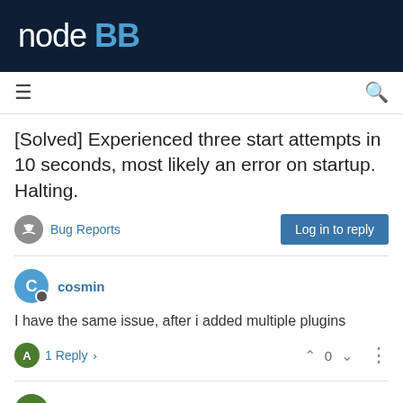NodeBB
[Solved] Experienced three start attempts in 10 seconds, most likely an error on startup. Halting.
Bug Reports
Log in to reply
cosmin
I have the same issue, after i added multiple plugins
1 Reply
a_5mith